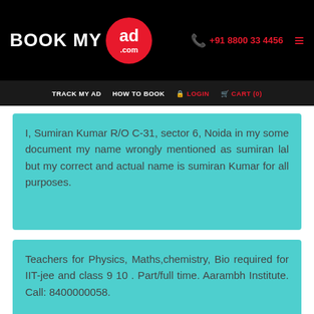BOOK MY ad.com | +91 8800 33 4456
TRACK MY AD  HOW TO BOOK  LOGIN  CART (0)
I, Sumiran Kumar R/O C-31, sector 6, Noida in my some document my name wrongly mentioned as sumiran lal but my correct and actual name is sumiran Kumar for all purposes.
Teachers for Physics, Maths,chemistry, Bio required for IIT-jee and class 9 10 . Part/full time. Aarambh Institute. Call: 8400000058.